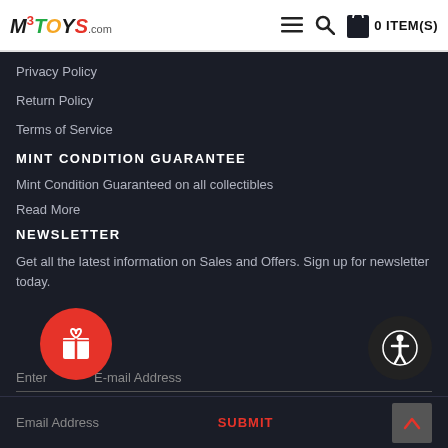M3TOYS.com — 0 ITEM(S)
Privacy Policy
Return Policy
Terms of Service
MINT CONDITION GUARANTEE
Mint Condition Guaranteed on all collectibles
Read More
NEWSLETTER
Get all the latest information on Sales and Offers. Sign up for newsletter today.
Enter E-mail Address
Email Address
SUBMIT